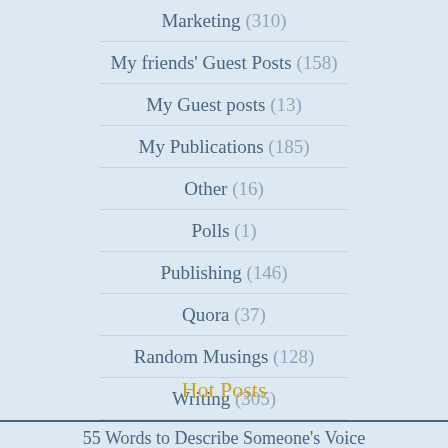Marketing (310)
My friends' Guest Posts (158)
My Guest posts (13)
My Publications (185)
Other (16)
Polls (1)
Publishing (146)
Quora (37)
Random Musings (128)
Writing (305)
Hot Posts
55 Words to Describe Someone's Voice